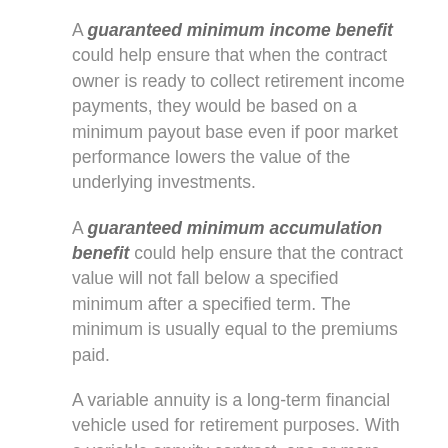A guaranteed minimum income benefit could help ensure that when the contract owner is ready to collect retirement income payments, they would be based on a minimum payout base even if poor market performance lowers the value of the underlying investments.
A guaranteed minimum accumulation benefit could help ensure that the contract value will not fall below a specified minimum after a specified term. The minimum is usually equal to the premiums paid.
A variable annuity is a long-term financial vehicle used for retirement purposes. With a variable annuity contract, one or more payments are made to an insurance company, which agrees to pay an income stream or a lump-sum amount at a later date. Variable annuities have contract limitations, fees, and charges, which can include mortality and expense risk charges, sales and surrender charges, investment management fees, administrative fees,